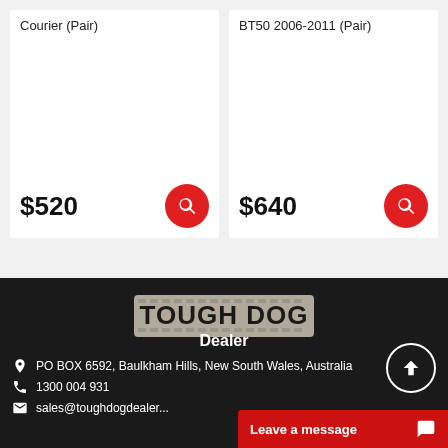Courier (Pair)
$520
BT50 2006-2011 (Pair)
$640
[Figure (logo): Tough Dog Dealer logo — dark tyre-tread background with bold white TOUGH DOG text and Dealer subtitle]
PO BOX 6592, Baulkham Hills, New South Wales, Australia
1300 004 931
sales@toughdogdealer...
Leave a message